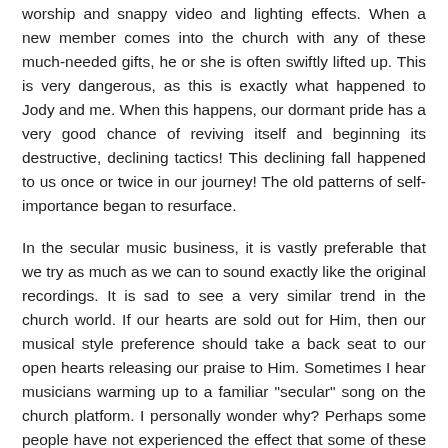worship and snappy video and lighting effects. When a new member comes into the church with any of these much-needed gifts, he or she is often swiftly lifted up. This is very dangerous, as this is exactly what happened to Jody and me. When this happens, our dormant pride has a very good chance of reviving itself and beginning its destructive, declining tactics! This declining fall happened to us once or twice in our journey! The old patterns of self-importance began to resurface.
In the secular music business, it is vastly preferable that we try as much as we can to sound exactly like the original recordings. It is sad to see a very similar trend in the church world. If our hearts are sold out for Him, then our musical style preference should take a back seat to our open hearts releasing our praise to Him. Sometimes I hear musicians warming up to a familiar "secular" song on the church platform. I personally wonder why? Perhaps some people have not experienced the effect that some of these songs can negatively have on some listeners?
In the secular music business, it is vastly preferable...